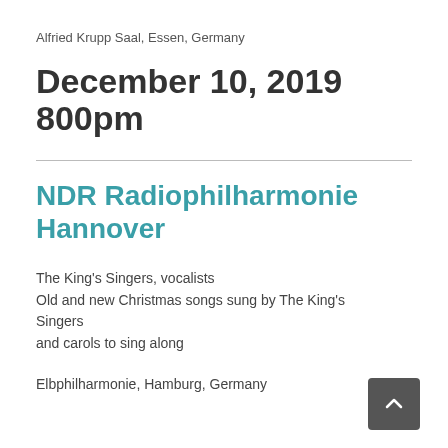Alfried Krupp Saal, Essen, Germany
December 10, 2019 800pm
NDR Radiophilharmonie Hannover
The King's Singers, vocalists
Old and new Christmas songs sung by The King's Singers
and carols to sing along
Elbphilharmonie, Hamburg, Germany